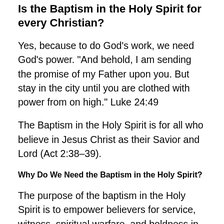Is the Baptism in the Holy Spirit for every Christian?
Yes, because to do God’s work, we need God’s power. “And behold, I am sending the promise of my Father upon you. But stay in the city until you are clothed with power from on high.” Luke 24:49
The Baptism in the Holy Spirit is for all who believe in Jesus Christ as their Savior and Lord (Act 2:38–39).
Why Do We Need the Baptism in the Holy Spirit?
The purpose of the baptism in the Holy Spirit is to empower believers for service, witness, spiritual warfare, and boldness in their testimonies (Acts 1:8; 4:19–20, 29–31; 6:8–10; 1 Corinthians 2:4).
Jesus commanded the disciples not to begin the work to which He called them until they were Baptized in the Holy